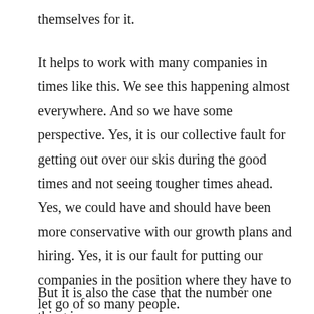themselves for it.
It helps to work with many companies in times like this. We see this happening almost everywhere. And so we have some perspective. Yes, it is our collective fault for getting out over our skis during the good times and not seeing tougher times ahead. Yes, we could have and should have been more conservative with our growth plans and hiring. Yes, it is our fault for putting our companies in the position where they have to let go of so many people.
But it is also the case that the number one thing in